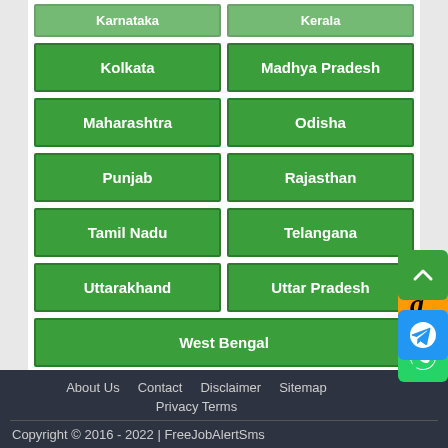Kolkata
Madhya Pradesh
Maharashtra
Odisha
Punjab
Rajasthan
Tamil Nadu
Telangana
Uttarakhand
Uttar Pradesh
West Bengal
About Us   Contact   Disclaimer   Sitemap
Privacy Terms
Copyright © 2016 - 2022 | FreeJobAlertSms